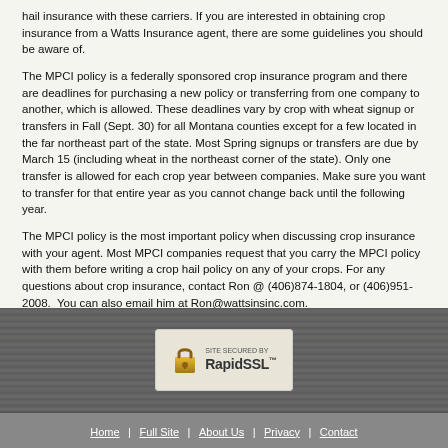hail insurance with these carriers. If you are interested in obtaining crop insurance from a Watts Insurance agent, there are some guidelines you should be aware of.
The MPCI policy is a federally sponsored crop insurance program and there are deadlines for purchasing a new policy or transferring from one company to another, which is allowed. These deadlines vary by crop with wheat signup or transfers in Fall (Sept. 30) for all Montana counties except for a few located in the far northeast part of the state. Most Spring signups or transfers are due by March 15 (including wheat in the northeast corner of the state). Only one transfer is allowed for each crop year between companies. Make sure you want to transfer for that entire year as you cannot change back until the following year.
The MPCI policy is the most important policy when discussing crop insurance with your agent. Most MPCI companies request that you carry the MPCI policy with them before writing a crop hail policy on any of your crops. For any questions about crop insurance, contact Ron @ (406)874-1804, or (406)951-2008.  You can also email him at Ron@wattsinsinc.com.
[Figure (logo): RapidSSL Site Secured badge with padlock icon]
Home | Full Site | About Us | Privacy | Contact